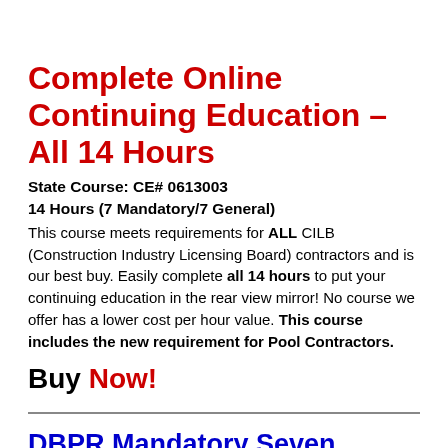Complete Online Continuing Education – All 14 Hours
State Course: CE# 0613003
14 Hours (7 Mandatory/7 General)
This course meets requirements for ALL CILB (Construction Industry Licensing Board) contractors and is our best buy. Easily complete all 14 hours to put your continuing education in the rear view mirror! No course we offer has a lower cost per hour value. This course includes the new requirement for Pool Contractors.
Buy Now!
DBPR Mandatory Seven Hours